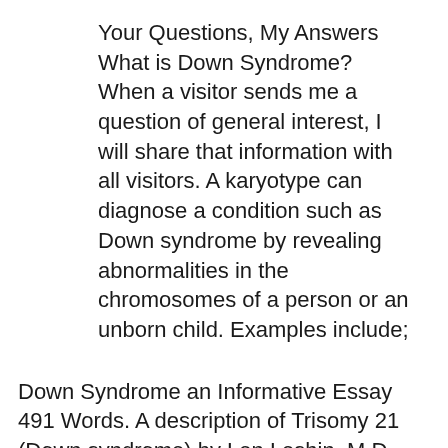Your Questions, My Answers What is Down Syndrome? When a visitor sends me a question of general interest, I will share that information with all visitors. A karyotype can diagnose a condition such as Down syndrome by revealing abnormalities in the chromosomes of a person or an unborn child. Examples include;
Down Syndrome an Informative Essay 491 Words. A description of Trisomy 21 (Down syndrome) by Len Leshin, M.D., F.A.A.P. Chromosome mutations are